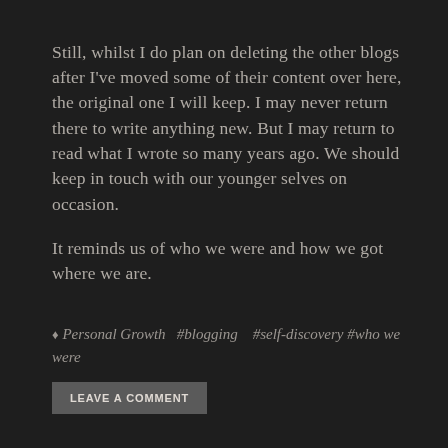Still, whilst I do plan on deleting the other blogs after I've moved some of their content over here, the original one I will keep. I may never return there to write anything new. But I may return to read what I wrote so many years ago. We should keep in touch with our younger selves on occasion.
It reminds us of who we were and how we got where we are.
♦ Personal Growth  #blogging   #self-discovery #who we were
LEAVE A COMMENT